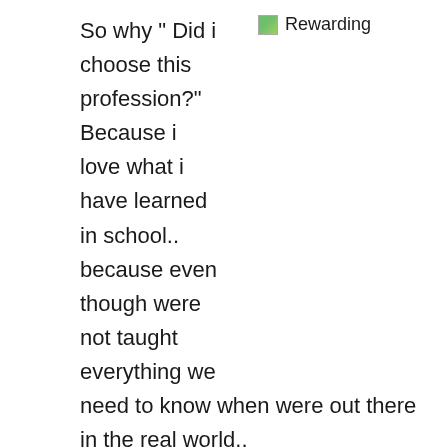So why " Did i choose this profession?" Because i love what i have learned in school.. because even though were not taught everything we need to know when were out there in the real world.. I chose it because ..I CAN. Because no matter how many times we get cursed out by patients, and families and yelled out by doctors. I can. I can survive those emotions and the struggles of those
[Figure (illustration): Small broken image icon placeholder with text label 'Rewarding']